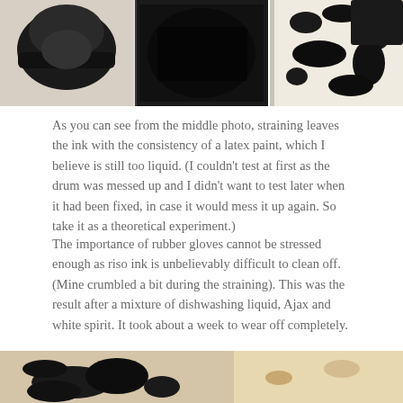[Figure (photo): Three photos showing riso ink straining process: left shows black ink cartridge/hat, middle shows black liquid with latex paint consistency, right shows black ink splattered on white and dark surface.]
As you can see from the middle photo, straining leaves the ink with the consistency of a latex paint, which I believe is still too liquid. (I couldn't test at first as the drum was messed up and I didn't want to test later when it had been fixed, in case it would mess it up again. So take it as a theoretical experiment.)
The importance of rubber gloves cannot be stressed enough as riso ink is unbelievably difficult to clean off. (Mine crumbled a bit during the straining). This was the result after a mixture of dishwashing liquid, Ajax and white spirit. It took about a week to wear off completely.
[Figure (photo): Bottom photo showing hands or materials with black riso ink stains on a light background.]